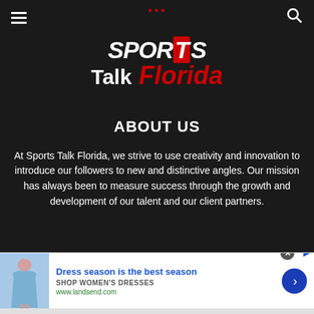Sports Talk Florida
[Figure (logo): Sports Talk Florida logo with white italic text 'SPORTS Talk' and red italic text 'Florida' on dark background]
ABOUT US
At Sports Talk Florida, we strive to use creativity and innovation to introduce our followers to new and distinctive angles. Our mission has always been to measure success through the growth and development of our talent and our client partners.
[Figure (other): Advertisement banner: 'Dress season is the best season' by landsend.com showing a woman in a blue dress, with shop women's dresses text and a blue arrow button]